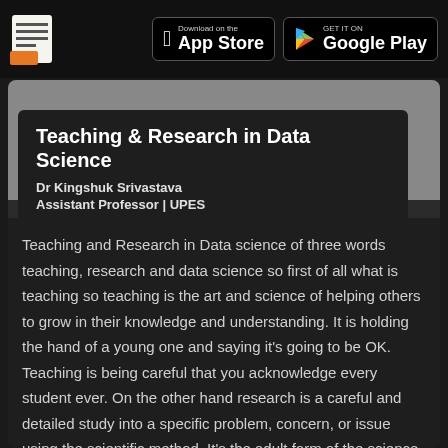[Figure (screenshot): App Store and Google Play download buttons in dark top navigation bar with document icon]
Teaching & Research in Data Science
Dr Kingshuk Srivastava
Assistant Professor | UPES
[ 9 years Experience ]
Teaching and Research in Data science of three words teaching, research and data science so first of all what is teaching so teaching is the art and science of helping others to grow in their knowledge and understanding. It is holding the hand of a young one and saying it's going to be OK. Teaching is being careful that you acknowledge every student ever. On the other hand research is a careful and detailed study into a specific problem, concern, or issue using the scientific method. It's the adult form of the science fair projects back in elementary school, where you try and learn